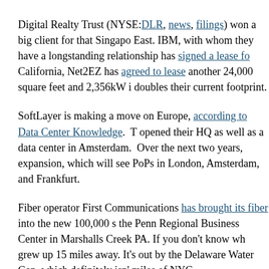Digital Realty Trust (NYSE:DLR, news, filings) won a big client for that Singapore East. IBM, with whom they have a longstanding relationship has signed a lease for California, Net2EZ has agreed to lease another 24,000 square feet and 2,356kW i doubles their current footprint.
SoftLayer is making a move on Europe, according to Data Center Knowledge. T opened their HQ as well as a data center in Amsterdam. Over the next two years, expansion, which will see PoPs in London, Amsterdam, and Frankfurt.
Fiber operator First Communications has brought its fiber into the new 100,000 s the Penn Regional Business Center in Marshalls Creek PA. If you don't know wh grew up 15 miles away. It's out by the Delaware Water Gap, which definitely isn' miles of NYC.
Internap Network Services (NASDAQ:INAP, news, filings) today unveiled an Op billed as the first such offering to be commercially available. Internap also remin delivery network by expanding their service options for mobile content. The new Concurrent's EFactor Transmux.
And finally, Telx Group (news, filings) has forged a channel partnership with C